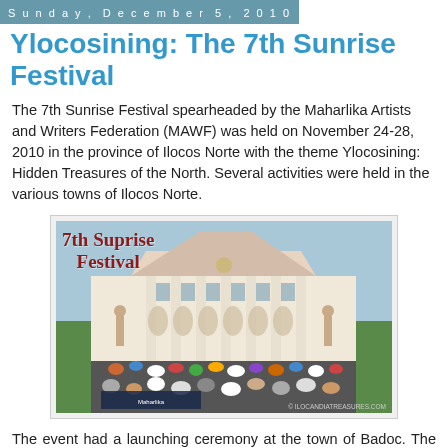Sunday, December 5, 2010
Ylocosining: The 7th Sunrise Festival
The 7th Sunrise Festival spearheaded by the Maharlika Artists and Writers Federation (MAWF) was held on November 24-28, 2010 in the province of Ilocos Norte with the theme Ylocosining: Hidden Treasures of the North. Several activities were held in the various towns of Ilocos Norte.
[Figure (photo): Group photo of approximately 500 participants of the 7th Sunrise Festival in front of a large government building with arches and columns. The photo shows a text overlay reading '7th Suprise Festival' in red ornate lettering. Watermark reads '© ILOCANDIATREASURES.COM']
The event had a launching ceremony at the town of Badoc. The mayor warmly receives the entire delegation. There were 500 participants in this event with performers, visual